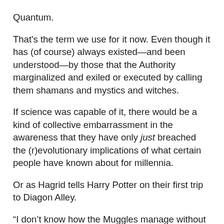Quantum.
That's the term we use for it now. Even though it has (of course) always existed—and been understood—by those that the Authority marginalized and exiled or executed by calling them shamans and mystics and witches.
If science was capable of it, there would be a kind of collective embarrassment in the awareness that they have only just breached the (r)evolutionary implications of what certain people have known about for millennia.
Or as Hagrid tells Harry Potter on their first trip to Diagon Alley.
“I don’t know how the Muggles manage without magic.”
For the past five years, in a very quiet little blog, I have been struggling to explain the power of quantum as a